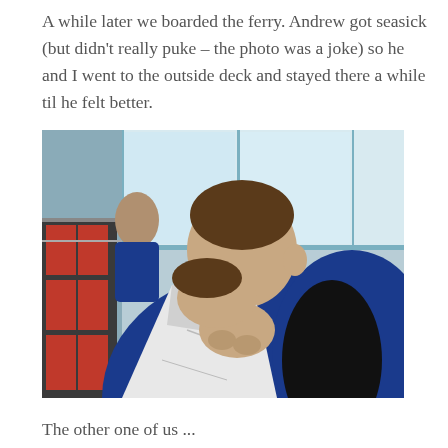A while later we boarded the ferry. Andrew got seasick (but didn't really puke – the photo was a joke) so he and I went to the outside deck and stayed there a while til he felt better.
[Figure (photo): A young man leaning forward with his face buried in a white paper bag, appearing seasick. He is wearing a blue hoodie jacket. In the background are windows with light grey/blue walls and red life jacket storage compartments visible on the left side. The setting is the interior of a ferry.]
The other one of us ...